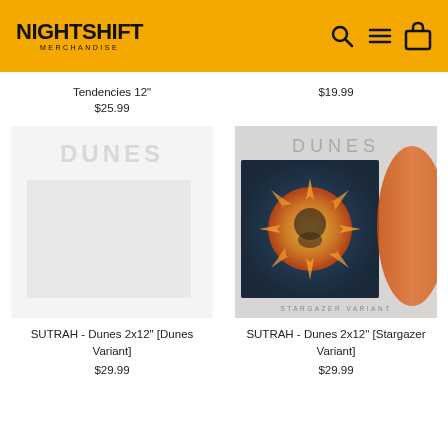NIGHTSHIFT MERCHANDISE
Tendencies 12"
$25.99
$19.99
[Figure (photo): SUTRAH Dunes 2x12" Dunes Variant album cover - faded/placeholder]
SUTRAH - Dunes 2x12" [Dunes Variant]
$29.99
[Figure (photo): SUTRAH Dunes 2x12" Stargazer Variant album cover - showing DUNES text at top with orange vinyl record and detailed artwork of flaming sun with meditating figure]
SUTRAH - Dunes 2x12" [Stargazer Variant]
$29.99